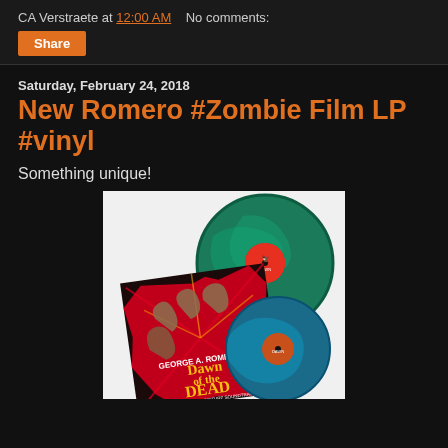CA Verstraete at 12:00 AM   No comments:
Share
Saturday, February 24, 2018
New Romero #Zombie Film LP #vinyl
Something unique!
[Figure (photo): Dawn of the Dead vinyl LP record set showing two marbled teal/green vinyl records with the album cover featuring zombie artwork and text 'George A. Romero's Dawn of the Dead Original Motion Picture Soundtrack']